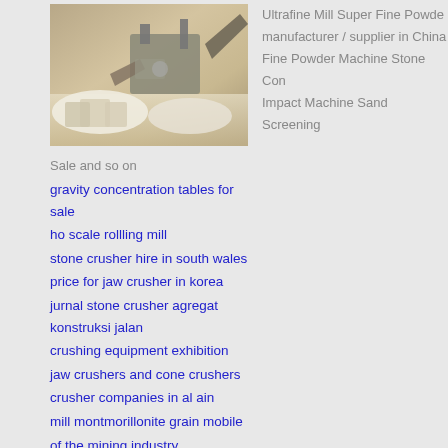[Figure (photo): Industrial mining/crushing equipment with white powder material]
Sale and so on
gravity concentration tables for sale
ho scale rollling mill
stone crusher hire in south wales
price for jaw crusher in korea
jurnal stone crusher agregat konstruksi jalan
crushing equipment exhibition
jaw crushers and cone crushers
crusher companies in al ain
mill montmorillonite grain mobile
of the mining industry
where to farm iron ore
charshel grinding machine
mill ball mill 1035 t
crusher united gyratory
micronizer plant manufacturing
cone crushers covered
Ultrafine Mill Super Fine Powder manufacturer / supplier in China Fine Powder Machine Stone Con Impact Machine Sand Screening